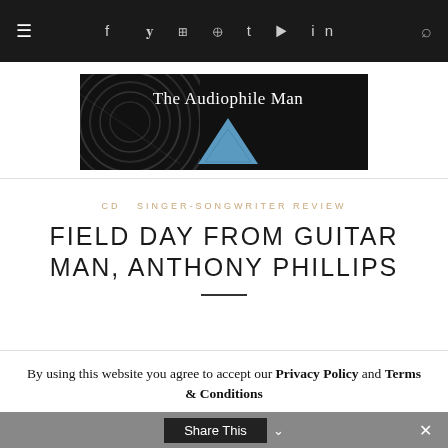≡  f  ʏ  ⊡  ⊕  t  ▶  in  🔍
[Figure (logo): The Audiophile Man logo: dark background with vinyl record on left and blue triangle diamond shape on right, white text reading 'The Audiophile Man']
CD  SINGER-SONGWRITER REVIEW
FIELD DAY FROM GUITAR MAN, ANTHONY PHILLIPS
By using this website you agree to accept our Privacy Policy and Terms & Conditions
Share This  ✕